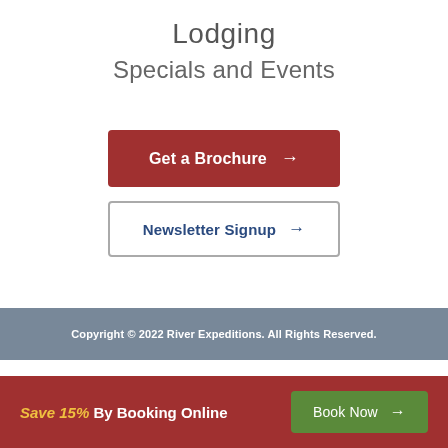Lodging
Specials and Events
Get a Brochure →
Newsletter Signup →
Copyright © 2022 River Expeditions. All Rights Reserved.
Save 15% By Booking Online   Book Now →